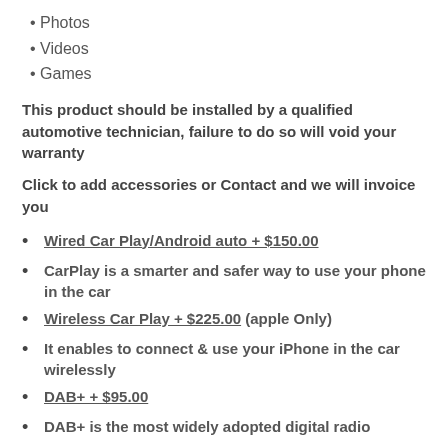Photos
Videos
Games
This product should be installed by a qualified automotive technician, failure to do so will void your warranty
Click to add accessories or Contact and we will invoice you
Wired Car Play/Android auto + $150.00
CarPlay is a smarter and safer way to use your phone in the car
Wireless Car Play + $225.00 (apple Only)
It enables to connect & use your iPhone in the car wirelessly
DAB+ + $95.00
DAB+ is the most widely adopted digital radio